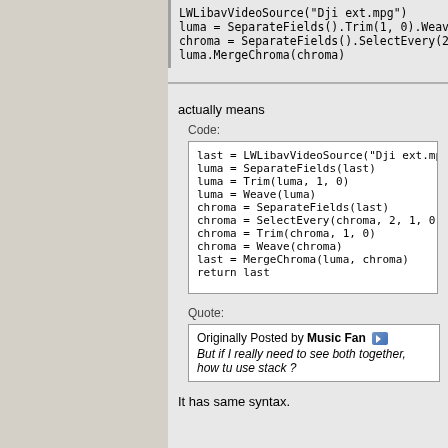LWLibavVideoSource("Dji ext.mpg")
luma = SeparateFields().Trim(1, 0).Weave()
chroma = SeparateFields().SelectEvery(2, 1,
luma.MergeChroma(chroma)
actually means
Code:
last = LWLibavVideoSource("Dji ext.mpg")
luma = SeparateFields(last)
luma = Trim(luma, 1, 0)
luma = Weave(luma)
chroma = SeparateFields(last)
chroma = SelectEvery(chroma, 2, 1, 0)
chroma = Trim(chroma, 1, 0)
chroma = Weave(chroma)
last = MergeChroma(luma, chroma)
return last
Quote:
Originally Posted by Music Fan
But if I really need to see both together, how tu use stack ?
It has same syntax.